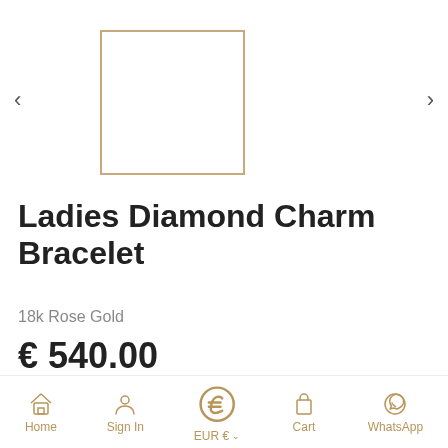[Figure (photo): Product image carousel showing a thumbnail box with golden border for Ladies Diamond Charm Bracelet, with left and right navigation arrows]
Ladies Diamond Charm Bracelet
18k Rose Gold
€ 540.00
This delightful charm bracelet is made from 18k rose gold
Home  Sign In  EUR €  Cart  WhatsApp